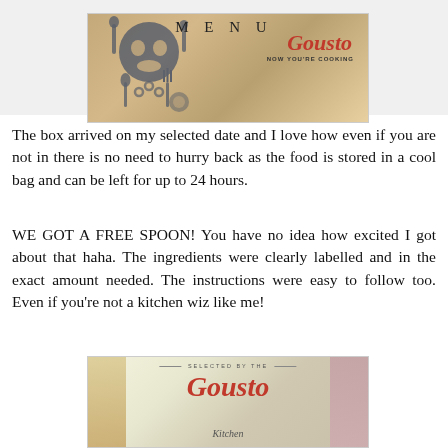MENU
[Figure (photo): Cardboard delivery box with Gousto logo and cooking-themed illustrations. Logo reads 'Gousto NOW YOU'RE COOKING']
The box arrived on my selected date and I love how even if you are not in there is no need to hurry back as the food is stored in a cool bag and can be left for up to 24 hours.
WE GOT A FREE SPOON! You have no idea how excited I got about that haha. The ingredients were clearly labelled and in the exact amount needed. The instructions were easy to follow too. Even if you're not a kitchen wiz like me!
[Figure (photo): Gousto Kitchen branded image showing meal ingredients and recipe cards, with 'SELECTED BY THE Gousto Kitchen' text]